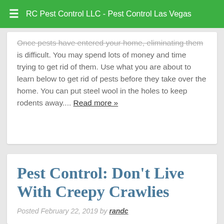RC Pest Control LLC - Pest Control Las Vegas
Once pests have entered your home, eliminating them is difficult. You may spend lots of money and time trying to get rid of them. Use what you are about to learn below to get rid of pests before they take over the home. You can put steel wool in the holes to keep rodents away.... Read more »
Pest Control: Don't Live With Creepy Crawlies
Posted February 22, 2019 by randc